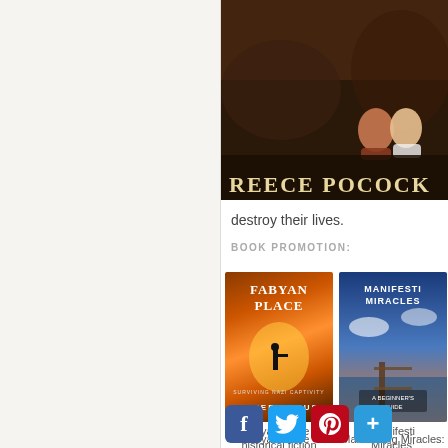[Figure (photo): Book cover showing two people sitting, with author name REECE POCOCK at bottom]
destroy their lives.
BOOK PROMOTION:
[Figure (photo): Book cover for Fabyan Place by Peter Angus - historical fiction, dark orange with soldier silhouette]
[Figure (photo): Book cover for Manifesting Miracles: A Beginner's Guide - blue sky and pier scene]
Fabyan Place - historical fiction b...
Manifesting Miracles: Beginner's...